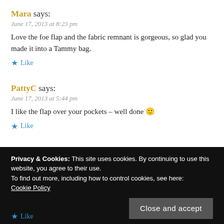Mara says:
June 17, 2013 at 8:23 pm
Love the foe flap and the fabric remnant is gorgeous, so glad you made it into a Tammy bag.
★ Like
PattyC says:
June 17, 2013 at 5:44 pm
I like the flap over your pockets – well done 🙂
★ Like
Privacy & Cookies: This site uses cookies. By continuing to use this website, you agree to their use.
To find out more, including how to control cookies, see here: Cookie Policy
Close and accept
★ Like